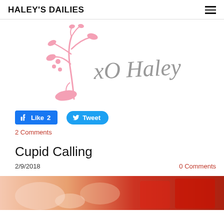HALEY'S DAILIES
[Figure (logo): Haley's Dailies blog logo: a pink botanical illustration with cursive text reading 'XO Haley' in gray]
[Figure (infographic): Facebook Like button showing 'Like 2' and Twitter Tweet button]
2 Comments
Cupid Calling
2/9/2018
0 Comments
[Figure (photo): Partial photo at bottom of page showing Valentine's Day themed items in red and pink tones]